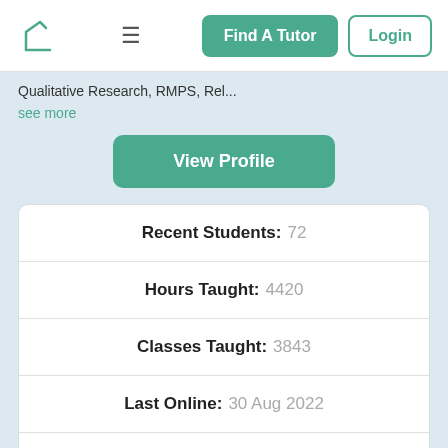Find A Tutor | Login
Qualitative Research, RMPS, Rel...
see more
View Profile
| Stat | Value |
| --- | --- |
| Recent Students: | 72 |
| Hours Taught: | 4420 |
| Classes Taught: | 3843 |
| Last Online: | 30 Aug 2022 |
| All-time Students: | 317 |